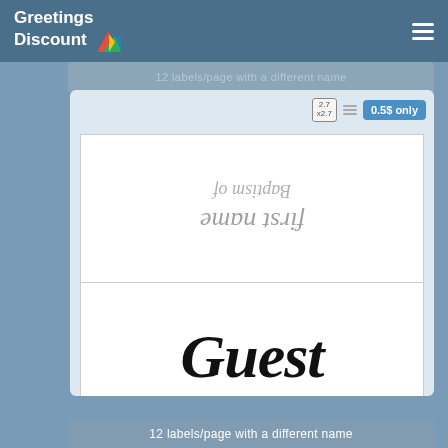Greetings Discount
12 labels/page with a different name
[Figure (screenshot): Product preview showing label design: top half has upside-down/mirrored cursive text reading 'first name' and 'Baptism of' in gray italic script; bottom half shows large black cursive 'Guest' text. Price badge showing 2.7x2.7 size and 0.5$ only.]
12 labels/page with a different name